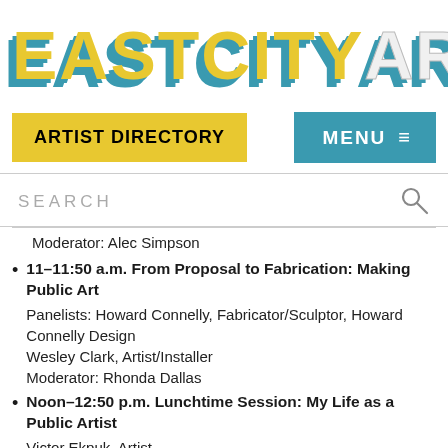[Figure (logo): EastCityArt logo with yellow block letters and teal shadow effect, 'ART' in light/outline style]
ARTIST DIRECTORY
MENU ≡
SEARCH
Moderator: Alec Simpson
11–11:50 a.m. From Proposal to Fabrication: Making Public Art
Panelists: Howard Connelly, Fabricator/Sculptor, Howard Connelly Design
Wesley Clark, Artist/Installer
Moderator: Rhonda Dallas
Noon–12:50 p.m. Lunchtime Session: My Life as a Public Artist
Victor Ekpuk, Artist
Moderator: Eric Key
1–1:50 p.m. Public Art and Community Engagement